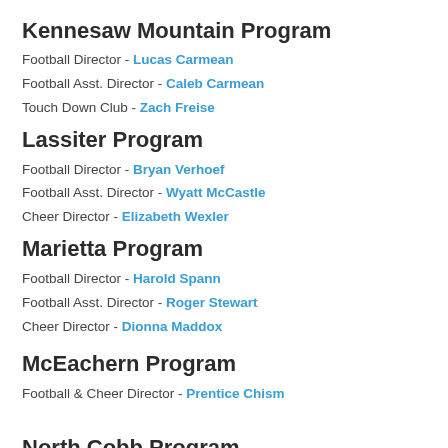Kennesaw Mountain Program
Football Director - Lucas Carmean
Football Asst. Director - Caleb Carmean
Touch Down Club - Zach Freise
Lassiter Program
Football Director - Bryan Verhoef
Football Asst. Director - Wyatt McCastle
Cheer Director - Elizabeth Wexler
Marietta Program
Football Director - Harold Spann
Football Asst. Director - Roger Stewart
Cheer Director - Dionna Maddox
McEachern Program
Football & Cheer Director - Prentice Chism
North Cobb Program